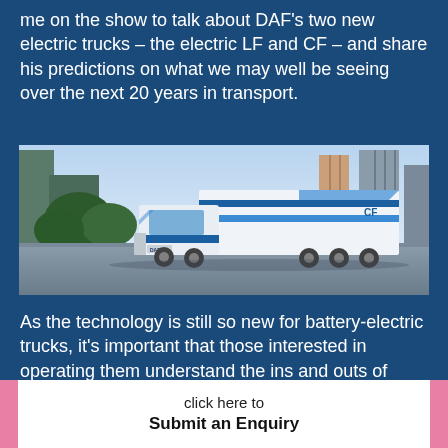me on the show to talk about DAF's two new electric trucks – the electric LF and CF – and share his predictions on what we may well be seeing over the next 20 years in transport.
[Figure (photo): A white and blue DAF electric CF truck driving on a road with city buildings in the background.]
As the technology is still so new for battery-electric trucks, it's important that those interested in operating them understand the ins and outs of what
click here to Submit an Enquiry